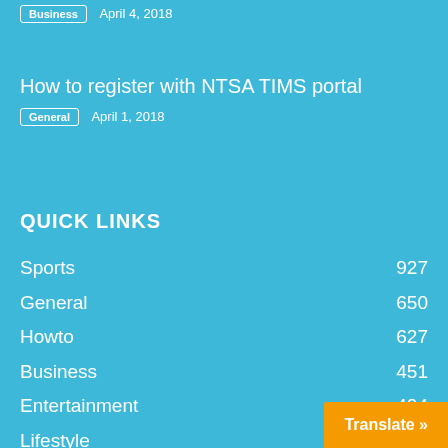Business   April 4, 2018
How to register with NTSA TIMS portal
General   April 1, 2018
QUICK LINKS
Sports  927
General  650
Howto  627
Business  451
Entertainment  424
Lifestyle  223
Technology  204
Casino
Translate »